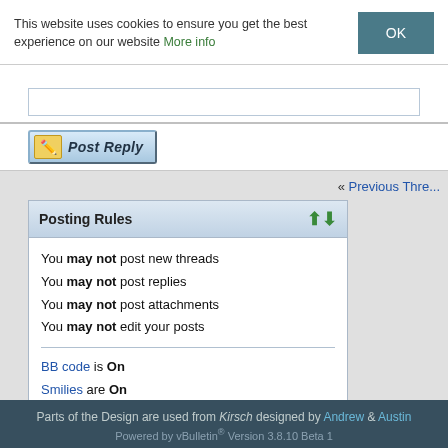This website uses cookies to ensure you get the best experience on our website More info
[Figure (screenshot): Post Reply button with pencil icon]
« Previous Thread
Posting Rules
You may not post new threads
You may not post replies
You may not post attachments
You may not edit your posts
BB code is On
Smilies are On
[IMG] code is On
HTML code is Off
Forum Rules
All times are GMT +2
-- English (US)
Parts of the Design are used from Kirsch designed by Andrew & Austin
Powered by vBulletin® Version 3.8.10 Beta 1